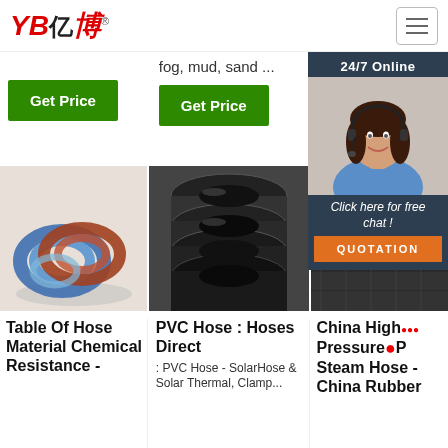[Figure (logo): YB亿博 logo in red italic text]
fog, mud, sand ...
[Figure (other): Green Get Price button (left)]
[Figure (other): Green Get Price button (center)]
[Figure (other): 24/7 Online chat widget with woman in headset, Click here for free chat!, QUOTATION button]
[Figure (photo): Coiled PVC and rubber hoses in blue and red/brown]
[Figure (photo): Black rubber hose pipes stacked]
[Figure (photo): Black rubber industrial hose]
Table Of Hose Material Chemical Resistance -
PVC Hose : Hoses Direct
: PVC Hose - SolarHose & Solar Thermal, Clamp...
China High Pressure Steam Hose - China Rubber